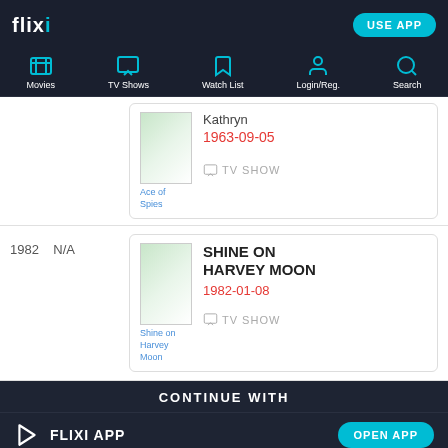flixi — USE APP
[Figure (screenshot): Navigation bar with icons: Movies, TV Shows, Watch List, Login/Reg., Search]
[Figure (screenshot): Partial result card: Ace of Spies, date 1963-09-05, TV SHOW]
1982  N/A
[Figure (screenshot): Result card: SHINE ON HARVEY MOON, 1982-01-08, TV SHOW]
CONTINUE WITH
FLIXI APP — OPEN APP
CHROME — CONTINUE